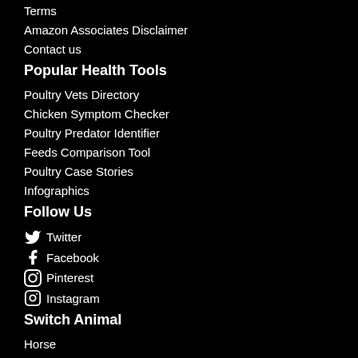Terms
Amazon Associates Disclaimer
Contact us
Popular Health Tools
Poultry Vets Directory
Chicken Symptom Checker
Poultry Predator Identifier
Feeds Comparison Tool
Poultry Case Stories
Infographics
Follow Us
Twitter
Facebook
Pinterest
Instagram
Switch Animal
Horse